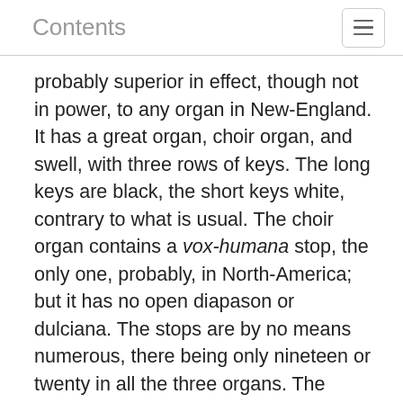Contents
probably superior in effect, though not in power, to any organ in New-England. It has a great organ, choir organ, and swell, with three rows of keys. The long keys are black, the short keys white, contrary to what is usual. The choir organ contains a vox-humana stop, the only one, probably, in North-America; but it has no open diapason or dulciana. The stops are by no means numerous, there being only nineteen or twenty in all the three organs. The number of pipes, however, owing to the many small ones contained in the eight ranks of the cornet and sesquialter, is 1330. Dr. G. K. Jackson thought, that the full organ was deficient in the bass; and in consequence, a sub-bass was added, in 1825, by Mr. Goodrich … 32